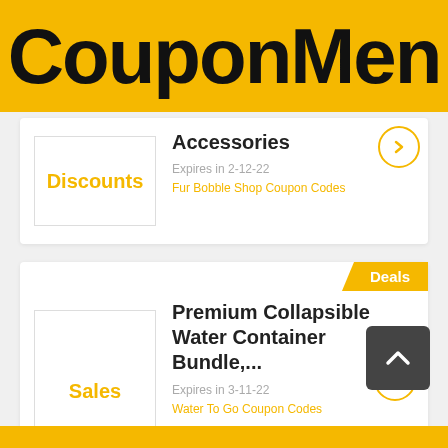[Figure (logo): CouponMen logo on yellow background]
Accessories
Discounts
Expires in 2-12-22
Fur Bobble Shop Coupon Codes
Deals
Premium Collapsible Water Container Bundle,...
Sales
Expires in 3-11-22
Water To Go Coupon Codes